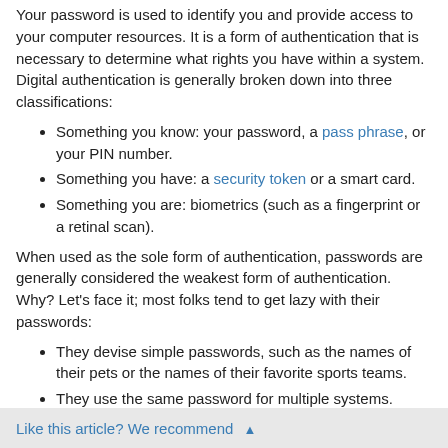Your password is used to identify you and provide access to your computer resources. It is a form of authentication that is necessary to determine what rights you have within a system. Digital authentication is generally broken down into three classifications:
Something you know: your password, a pass phrase, or your PIN number.
Something you have: a security token or a smart card.
Something you are: biometrics (such as a fingerprint or a retinal scan).
When used as the sole form of authentication, passwords are generally considered the weakest form of authentication. Why? Let's face it; most folks tend to get lazy with their passwords:
They devise simple passwords, such as the names of their pets or the names of their favorite sports teams.
They use the same password for multiple systems.
They write their passwords on sticky notes and stick them next to their computers.
Once your password is no longer secret, it no longer uniquely
Like this article? We recommend ▲